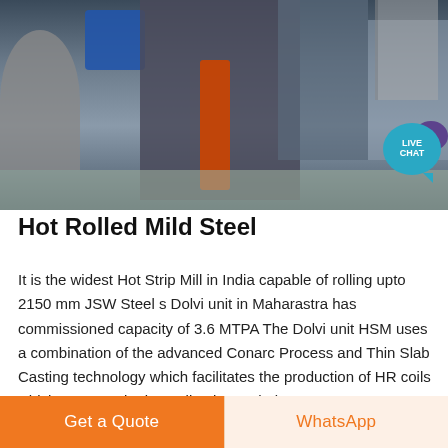[Figure (photo): Industrial steel mill interior showing heavy machinery, blue electric motor, orange hydraulic cylinder, metal framework, staircases, and factory floor]
Hot Rolled Mild Steel
It is the widest Hot Strip Mill in India capable of rolling upto 2150 mm JSW Steel s Dolvi unit in Maharastra has commissioned capacity of 3.6 MTPA The Dolvi unit HSM uses a combination of the advanced Conarc Process and Thin Slab Casting technology which facilitates the production of HR coils which are superior in quality due to their
Get a Quote
WhatsApp